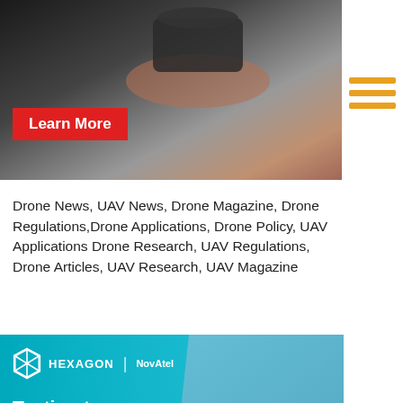[Figure (photo): Close-up photo of a hand holding a small dark drone or electronic device, with a red Learn More button overlay]
[Figure (other): Orange hamburger menu icon with three horizontal lines on right side]
Drone News, UAV News, Drone Magazine, Drone Regulations,Drone Applications, Drone Policy, UAV Applications Drone Research, UAV Regulations, Drone Articles, UAV Research, UAV Magazine
[Figure (photo): Hexagon NovAtel advertisement banner with teal background showing a military aircraft. Text reads: Testing to the edge: Reliable positioning, velocity and attitude]